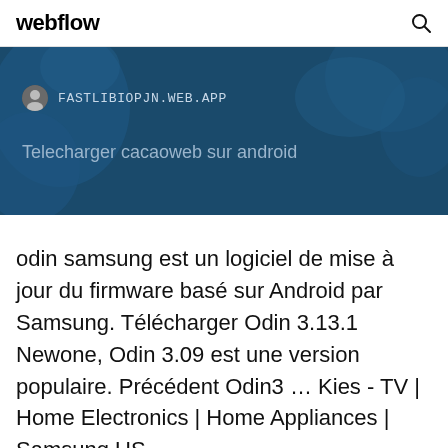webflow
[Figure (screenshot): Banner with dark blue map background showing FASTLIBIOPJN.WEB.APP URL and title 'Telecharger cacaoweb sur android']
odin samsung est un logiciel de mise à jour du firmware basé sur Android par Samsung. Télécharger Odin 3.13.1 Newone, Odin 3.09 est une version populaire. Précédent Odin3 … Kies - TV | Home Electronics | Home Appliances | Samsung US